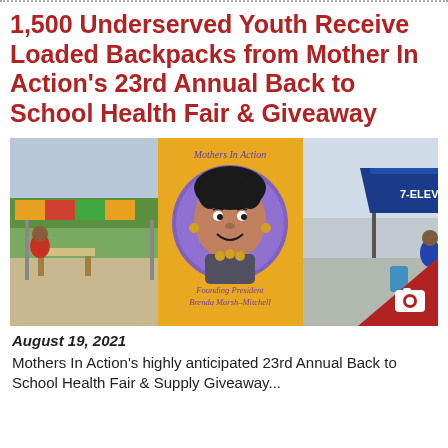1,500 Underserved Youth Receive Loaded Backpacks from Mother In Action's 23rd Annual Back to School Health Fair & Giveaway
[Figure (photo): Photo of a promotional banner/flyer for Mothers In Action featuring a cartoon illustration of Founding President Brenda Marsh-Mitchell on a gold background, with a 7-Eleven tent and outdoor fair scene in the background. A red triangular camera badge in the bottom right corner.]
August 19, 2021
Mothers In Action's highly anticipated 23rd Annual Back to School Health Fair & Supply Giveaway...